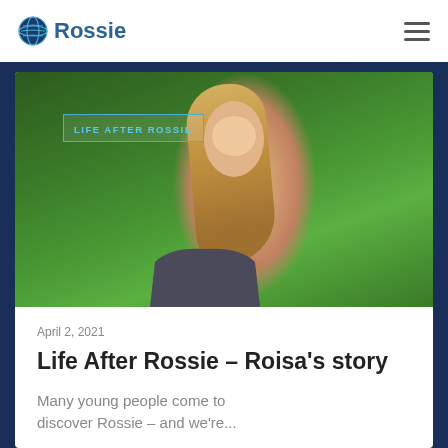Rossie
[Figure (photo): Young blonde woman smiling, wearing a dark grey top, standing in front of green hedges outdoors. Overlaid text tag reads 'LIFE AFTER ROSSIE'.]
April 2, 2021
Life After Rossie – Roisa’s story
Many young people come to discover Rossie – and we’re...